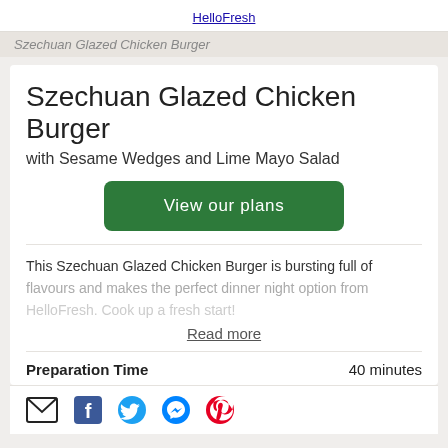HelloFresh
Szechuan Glazed Chicken Burger
with Sesame Wedges and Lime Mayo Salad
View our plans
This Szechuan Glazed Chicken Burger is bursting full of flavours and makes the perfect dinner night option from HelloFresh. Cook up a fresh start!
Read more
Preparation Time    40 minutes
[Figure (infographic): Social share icons: email, Facebook, Twitter, Messenger, Pinterest]